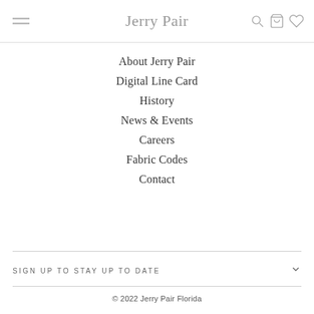Jerry Pair
About Jerry Pair
Digital Line Card
History
News & Events
Careers
Fabric Codes
Contact
SIGN UP TO STAY UP TO DATE
© 2022 Jerry Pair Florida